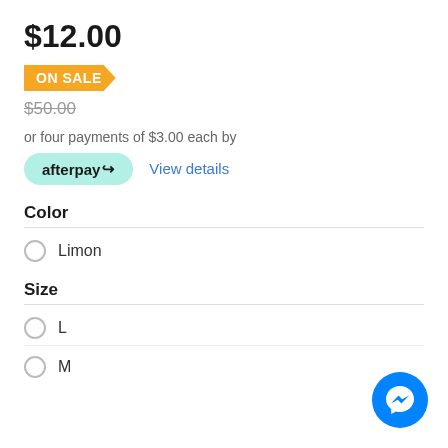$12.00
ON SALE
$50.00
or four payments of $3.00 each by
[Figure (logo): Afterpay logo button with mint green background and arrow icon]
View details
Color
Limon
Size
L
M
[Figure (logo): Facebook Messenger blue circle icon button]